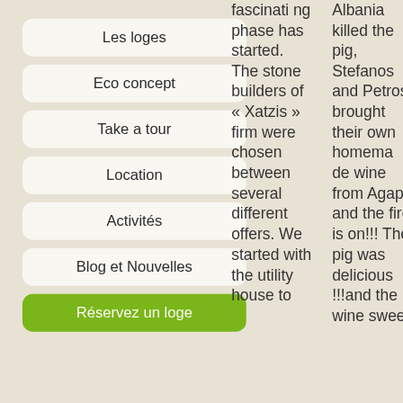Les loges
Eco concept
Take a tour
Location
Activités
Blog et Nouvelles
Réservez un loge
fascinating phase has started. The stone builders of « Xatzis » firm were chosen between several different offers. We started with the utility house to
Albania killed the pig, Stefanos and Petros brought their own homemade wine from Agapi and the fire is on!!! The pig was delicious!!!and the wine sweet,